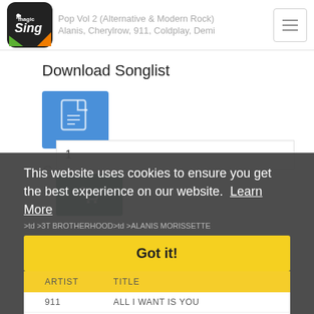MagicSing | Pop Vol 2 (Alternative & Modern Rock) | Alanis, Cherylrow, 911, Coldplay, Demi
Download Songlist
[Figure (other): Blue PDF/document download button icon]
€49.01
1
[Figure (other): Dark teal Add to Cart button with shopping cart icon]
This website uses cookies to ensure you get the best experience on our website. Learn More
Got it!
>td >3T BROTHERHOOD>td >ALANIS MORISSETTE
| ARTIST | TITLE |
| --- | --- |
| 911 | ALL I WANT IS YOU |
| 911 | HOW DO YOU WANT ME TO LOVE |